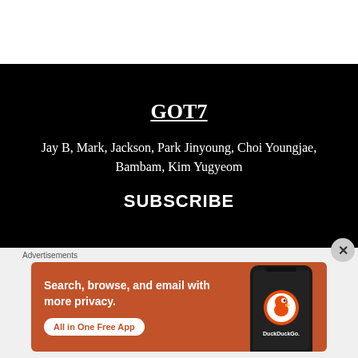GOT7
Jay B, Mark, Jackson, Park Jinyoung, Choi Youngjae, Bambam, Kim Yugyeom
SUBSCRIBE
Advertisements
[Figure (illustration): DuckDuckGo advertisement banner with orange background. Text reads: Search, browse, and email with more privacy. All in One Free App. Shows a smartphone with DuckDuckGo logo.]